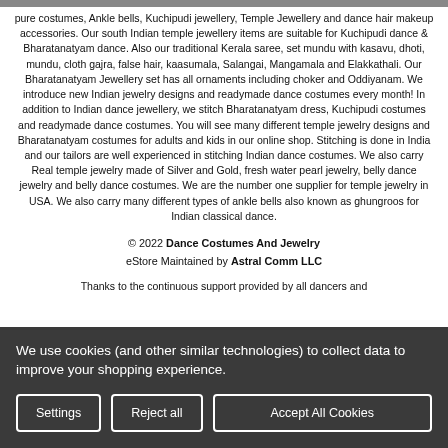pure costumes, Ankle bells, Kuchipudi jewellery, Temple Jewellery and dance hair makeup accessories. Our south Indian temple jewellery items are suitable for Kuchipudi dance & Bharatanatyam dance. Also our traditional Kerala saree, set mundu with kasavu, dhoti, mundu, cloth gajra, false hair, kaasumala, Salangai, Mangamala and Elakkathali. Our Bharatanatyam Jewellery set has all ornaments including choker and Oddiyanam. We introduce new Indian jewelry designs and readymade dance costumes every month! In addition to Indian dance jewellery, we stitch Bharatanatyam dress, Kuchipudi costumes and readymade dance costumes. You will see many different temple jewelry designs and Bharatanatyam costumes for adults and kids in our online shop. Stitching is done in India and our tailors are well experienced in stitching Indian dance costumes. We also carry Real temple jewelry made of Silver and Gold, fresh water pearl jewelry, belly dance jewelry and belly dance costumes. We are the number one supplier for temple jewelry in USA. We also carry many different types of ankle bells also known as ghungroos for Indian classical dance.
© 2022 Dance Costumes And Jewelry
eStore Maintained by Astral Comm LLC
Thanks to the continuous support provided by all dancers and
We use cookies (and other similar technologies) to collect data to improve your shopping experience.